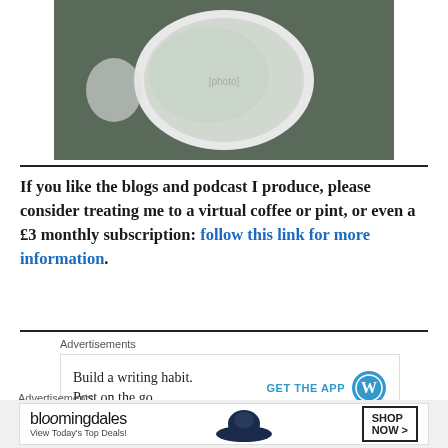[Figure (photo): Photo of a white bowl or cup with liquid/ice, taken from above on a dark surface]
If you like the blogs and podcast I produce, please consider treating me to a virtual coffee or pint, or even a £3 monthly subscription: follow this link for more information.
Advertisements
[Figure (screenshot): WordPress app advertisement: 'Build a writing habit. Post on the go.' with GET THE APP button and WordPress logo]
REPORT THIS AD
Advertisements
[Figure (screenshot): Bloomingdale's advertisement: 'View Today's Top Deals!' with SHOP NOW > button and model with hat]